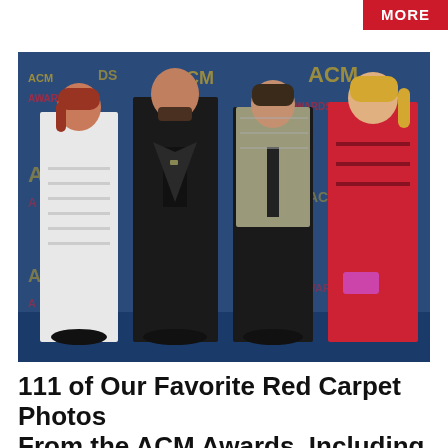MORE
[Figure (photo): Four country music artists posing on the ACM Awards red carpet (blue carpet) in front of ACM Awards backdrop. From left: a woman in a white fringe gown with red hair, a man in a black suit, a man in a silver/gold patterned blazer with black tie, and a woman in a red dress with blonde hair.]
111 of Our Favorite Red Carpet Photos From the ACM Awards, Including